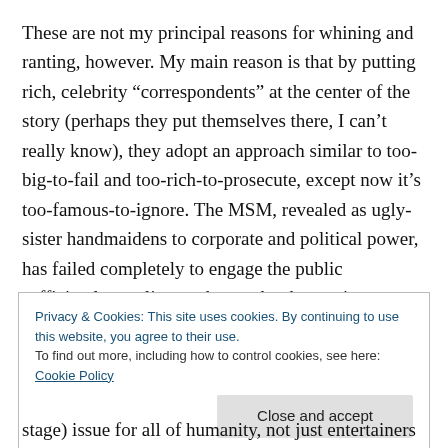These are not my principal reasons for whining and ranting, however. My main reason is that by putting rich, celebrity “correspondents” at the center of the story (perhaps they put themselves there, I can’t really know), they adopt an approach similar to too-big-to-fail and too-rich-to-prosecute, except now it’s too-famous-to-ignore. The MSM, revealed as ugly-sister handmaidens to corporate and political power, has failed completely to engage the public sufficiently on climate change, but by putting pretty, loquacious celebrities on display and in
Privacy & Cookies: This site uses cookies. By continuing to use this website, you agree to their use.
To find out more, including how to control cookies, see here: Cookie Policy
Close and accept
stage) issue for all of humanity, not just entertainers